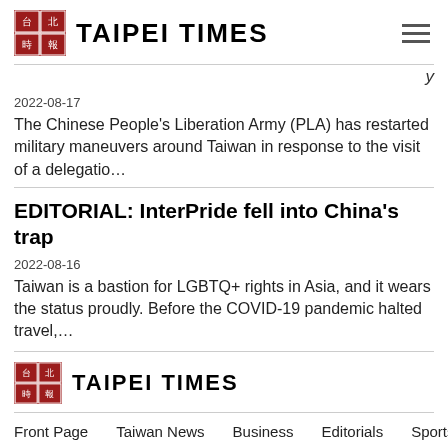TAIPEI TIMES
2022-08-17
The Chinese People's Liberation Army (PLA) has restarted military maneuvers around Taiwan in response to the visit of a delegatio…
EDITORIAL: InterPride fell into China's trap
2022-08-16
Taiwan is a bastion for LGBTQ+ rights in Asia, and it wears the status proudly. Before the COVID-19 pandemic halted travel,…
TAIPEI TIMES
Front Page
Taiwan News
Business
Editorials
Sports
World News
Features
Bilingual Pages